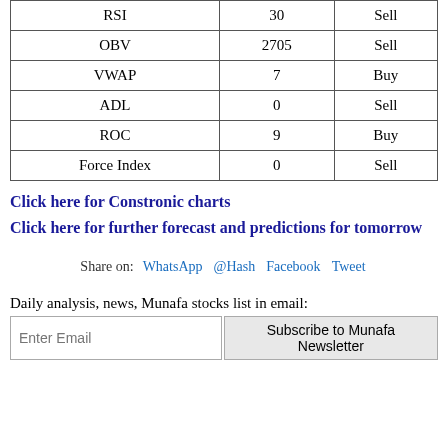| RSI | 30 | Sell |
| OBV | 2705 | Sell |
| VWAP | 7 | Buy |
| ADL | 0 | Sell |
| ROC | 9 | Buy |
| Force Index | 0 | Sell |
Click here for Constronic charts
Click here for further forecast and predictions for tomorrow
Share on:  WhatsApp  @Hash  Facebook  Tweet
Daily analysis, news, Munafa stocks list in email: